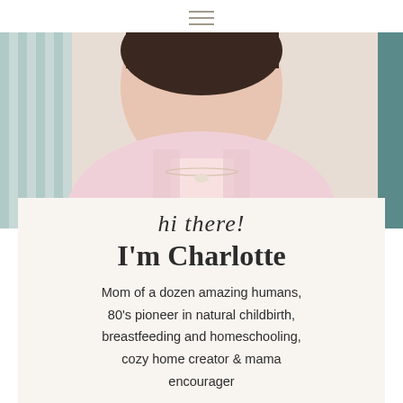[Figure (photo): Woman wearing a pink blouse with a delicate necklace, photographed from the shoulders up against a light background with subtle stripes]
hi there!
I'm Charlotte
Mom of a dozen amazing humans, 80's pioneer in natural childbirth, breastfeeding and homeschooling, cozy home creator & mama encourager